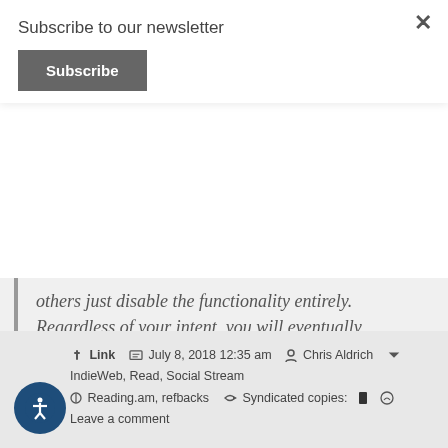Subscribe to our newsletter
Subscribe (button)
others just disable the functionality entirely. Regardless of your intent, you will eventually receive them. Handling them will prove useful to you.
Link   July 8, 2018 12:35 am   Chris Aldrich   IndieWeb, Read, Social Stream   Reading.am, refbacks   Syndicated copies:   Leave a comment